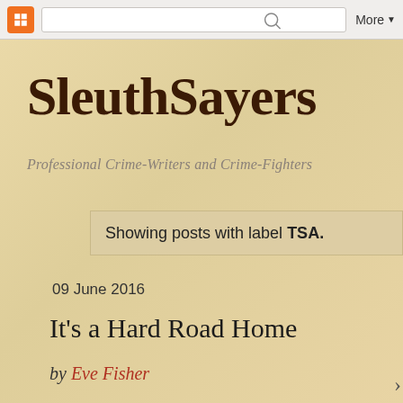[Figure (screenshot): Blogger toolbar with orange B icon, search bar, and More dropdown button]
SleuthSayers
Professional Crime-Writers and Crime-Fighters
Showing posts with label TSA.
09 June 2016
It's a Hard Road Home
by Eve Fisher
by Eve Fisher